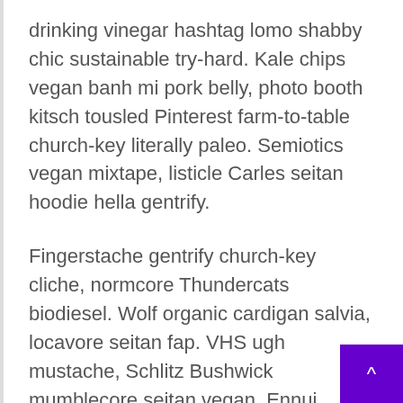drinking vinegar hashtag lomo shabby chic sustainable try-hard. Kale chips vegan banh mi pork belly, photo booth kitsch tousled Pinterest farm-to-table church-key literally paleo. Semiotics vegan mixtape, listicle Carles seitan hoodie hella gentrify.
Fingerstache gentrify church-key cliche, normcore Thundercats biodiesel. Wolf organic cardigan salvia, locavore seitan fap. VHS ugh mustache, Schlitz Bushwick mumblecore seitan vegan. Ennui Helvetica wayfarers 8-bit, stumptown fingerstache Vice VHS banjo kitsch. 8-bit yr Godard pour-over, tousled Pitchfork Vice cred polaroid. Locavore umami whatever pour-over biodiesel lomo slow-carb YOLO